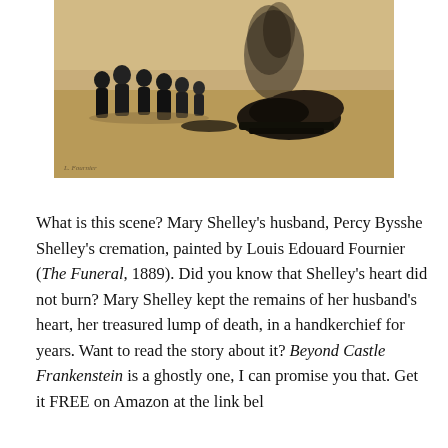[Figure (illustration): A painting depicting a cremation scene on a beach. Several dark-clad mourners stand to the left watching a dark smoldering pyre or bonfire on the right side of the composition. The background is a sandy, hazy landscape. The painting style is 19th-century realist.]
What is this scene? Mary Shelley's husband, Percy Bysshe Shelley's cremation, painted by Louis Edouard Fournier (The Funeral, 1889). Did you know that Shelley's heart did not burn? Mary Shelley kept the remains of her husband's heart, her treasured lump of death, in a handkerchief for years. Want to read the story about it? Beyond Castle Frankenstein is a ghostly one, I can promise you that. Get it FREE on Amazon at the link bel...